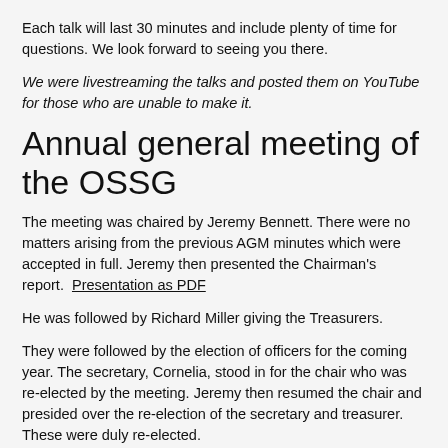Each talk will last 30 minutes and include plenty of time for questions. We look forward to seeing you there.
We were livestreaming the talks and posted them on YouTube for those who are unable to make it.
Annual general meeting of the OSSG
The meeting was chaired by Jeremy Bennett. There were no matters arising from the previous AGM minutes which were accepted in full. Jeremy then presented the Chairman's report.  Presentation as PDF
He was followed by Richard Miller giving the Treasurers.
They were followed by the election of officers for the coming year. The secretary, Cornelia, stood in for the chair who was re-elected by the meeting. Jeremy then resumed the chair and presided over the re-election of the secretary and treasurer. These were duly re-elected.
The new web master was elected and two event organisers were re-elected. Julian Kunkel was elected as Committee member at large and Andrejus Kostarevas was elected as Student Rep. Jeremy